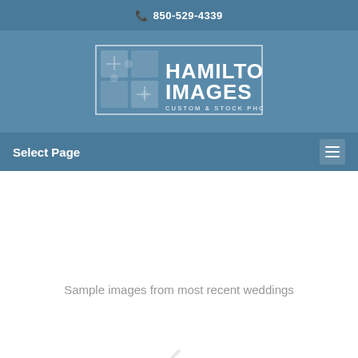850-529-4339
[Figure (logo): Hamilton Images Custom & Stock Photography logo — rectangular border with puzzle-piece icon on left and text HAMILTON IMAGES / CUSTOM & STOCK PHOTOGRAPHY on right, white on blue background]
Select Page
Sample images from most recent weddings